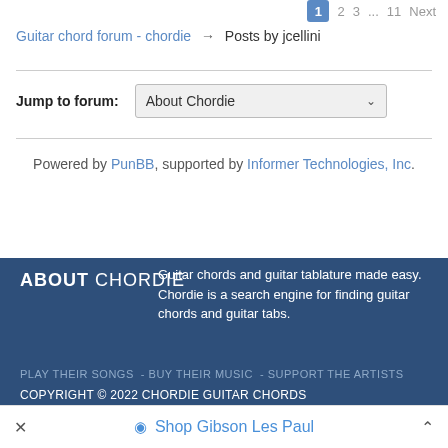1 2 3 ... 11 Next
Guitar chord forum - chordie → Posts by jcellini
Jump to forum: About Chordie
Powered by PunBB, supported by Informer Technologies, Inc.
ABOUT CHORDIE - Guitar chords and guitar tablature made easy. Chordie is a search engine for finding guitar chords and guitar tabs.
PLAY THEIR SONGS - BUY THEIR MUSIC - SUPPORT THE ARTISTS
COPYRIGHT © 2022 CHORDIE GUITAR CHORDS
Shop Gibson Les Paul